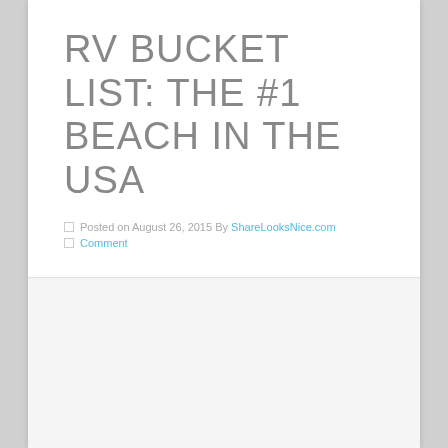RV BUCKET LIST: THE #1 BEACH IN THE USA
Posted on August 26, 2015 By ShareLooksNice.com
Comment